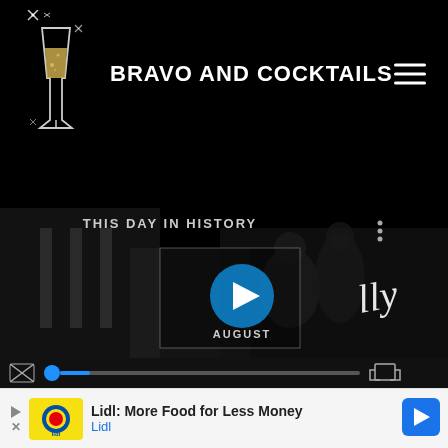[Figure (logo): Bravo and Cocktails website header with champagne flute logo and site name on black background with hamburger menu]
[Figure (screenshot): Video player showing 'This Day in History' content with play button overlay, progress bar with mute icon, and cursive text partially visible. Shows AUGUST label under play button.]
[Figure (screenshot): Ad banner for Lidl: More Food for Less Money with Lidl logo and navigation arrow]